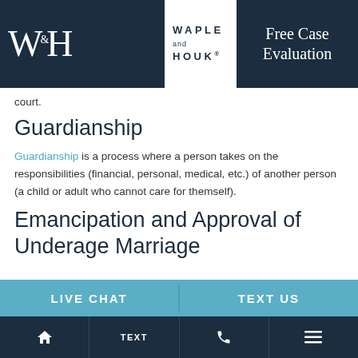[Figure (logo): Waple and Houk law firm logo with dark navy background and W&H monogram on left, firm name on right, and Free Case Evaluation button]
court.
Guardianship
Guardianship is a process where a person takes on the responsibilities (financial, personal, medical, etc.) of another person (a child or adult who cannot care for themself).
Emancipation and Approval of Underage Marriage
LIVE CHAT  TEXT US
HOME  TEXT  CALL  MENU